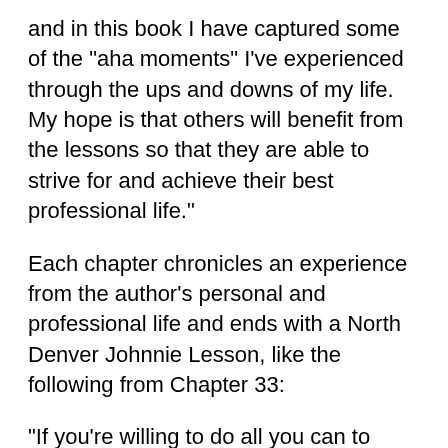and in this book I have captured some of the "aha moments" I've experienced through the ups and downs of my life. My hope is that others will benefit from the lessons so that they are able to strive for and achieve their best professional life."
Each chapter chronicles an experience from the author's personal and professional life and ends with a North Denver Johnnie Lesson, like the following from Chapter 33:
"If you're willing to do all you can to reach your potential, don't settle by working for a company that offers you only the ability to earn a living!"
One key belief that Santone puts forth in the book is